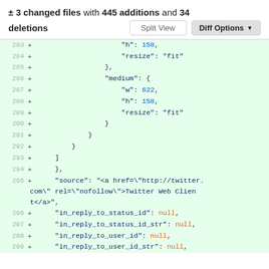± 3 changed files with 445 additions and 34 deletions
[Figure (screenshot): Git diff view showing added lines 283-299 in a JSON file with code additions in green background. Lines include JSON keys h, resize, medium, w, source with a Twitter URL, in_reply_to_status_id, in_reply_to_status_id_str, in_reply_to_user_id, in_reply_to_user_id_str all set to null.]